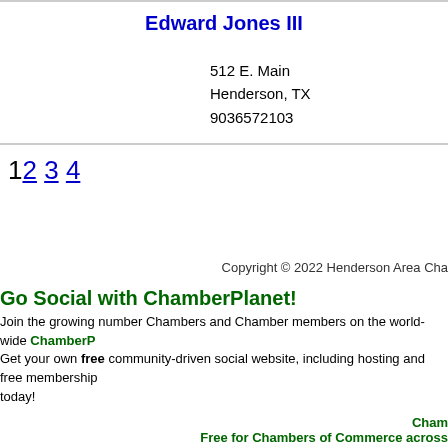Edward Jones III
512 E. Main
Henderson, TX
9036572103
1 2 3 4
Copyright © 2022 Henderson Area Cha...
Go Social with ChamberPlanet!
Join the growing number Chambers and Chamber members on the world-wide ChamberP... Get your own free community-driven social website, including hosting and free membership... today!
Cham...
Free for Chambers of Commerce across...